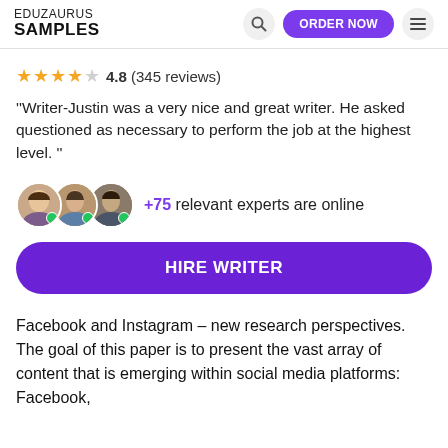EDUZAURUS SAMPLES
4.8 (345 reviews)
"Writer-Justin was a very nice and great writer. He asked questioned as necessary to perform the job at the highest level. "
+75 relevant experts are online
HIRE WRITER
Facebook and Instagram – new research perspectives. The goal of this paper is to present the vast array of content that is emerging within social media platforms: Facebook,